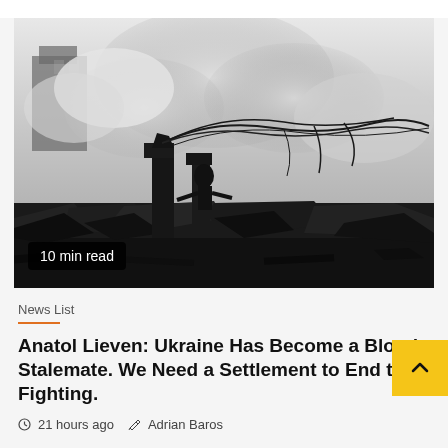[Figure (photo): Black and white war photograph showing destroyed rubble and debris with twisted metal rods/wires silhouetted against a smoky sky. A figure can be seen among the destruction. Dramatic wartime scene.]
10 min read
News List
Anatol Lieven: Ukraine Has Become a Bloody Stalemate. We Need a Settlement to End the Fighting.
21 hours ago  Adrian Baros